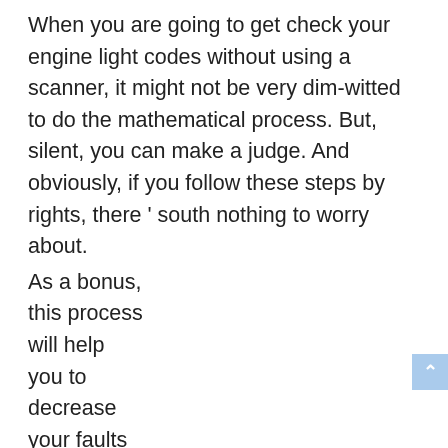When you are going to get check your engine light codes without using a scanner, it might not be very dim-witted to do the mathematical process. But, silent, you can make a judge. And obviously, if you follow these steps by rights, there ’ south nothing to worry about.
As a bonus, this process will help you to decrease your faults of recording or reading the Subaru codes manually. Let ’ s see what are the step by step procedure to follow :
[Figure (other): Broken image placeholder with text: Get Check Engine Light Codes Without Using A Scanner]